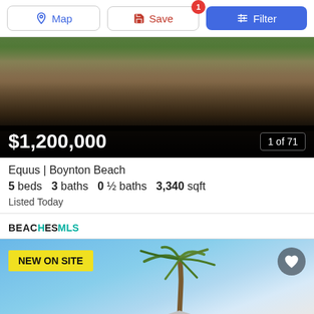[Figure (screenshot): Toolbar with Map, Save (badge: 1), and Filter buttons]
[Figure (photo): Exterior photo of a house with brick driveway, green lawn, trees, and garage. Price overlay: $1,200,000, 1 of 71]
Equus | Boynton Beach
5 beds   3 baths   0 ½ baths   3,340 sqft
Listed Today
[Figure (logo): BEACHES MLS logo]
[Figure (photo): Second listing photo showing a palm tree against a blue sky with a house roofline. Badge: NEW ON SITE. Heart/save icon in top right.]